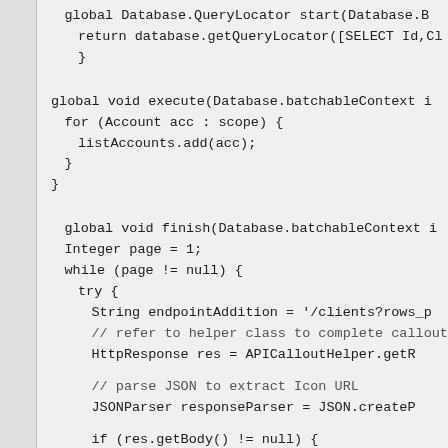[Figure (screenshot): Code snippet showing Apex batch class methods: start returning database.getQueryLocator, execute iterating over scope adding to listAccounts, finish method with pagination loop making API callout and parsing JSON response.]